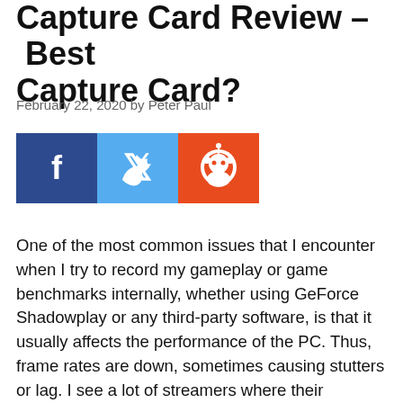Capture Card Review – Best Capture Card?
February 22, 2020 by Peter Paul
[Figure (other): Social share buttons: Facebook (blue), Twitter (light blue), Reddit (orange)]
One of the most common issues that I encounter when I try to record my gameplay or game benchmarks internally, whether using GeForce Shadowplay or any third-party software, is that it usually affects the performance of the PC. Thus, frame rates are down, sometimes causing stutters or lag. I see a lot of streamers where their gameplay suffers from stuttering or (sudden severe) lag. Well, one effective solution is to use a capture card, and to be more going to look at the Elgato 4K60 P...